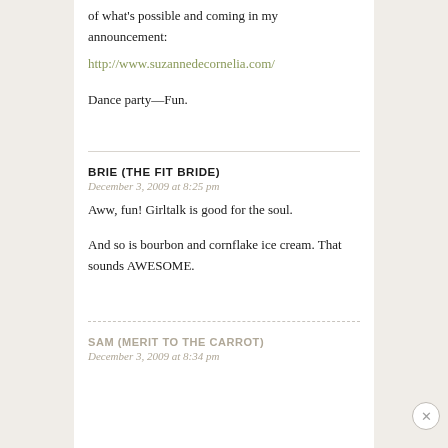of what's possible and coming in my announcement:
http://www.suzannedecornelia.com/
Dance party—Fun.
BRIE (THE FIT BRIDE)
December 3, 2009 at 8:25 pm
Aww, fun! Girltalk is good for the soul.
And so is bourbon and cornflake ice cream. That sounds AWESOME.
SAM (MERIT TO THE CARROT)
December 3, 2009 at 8:34 pm